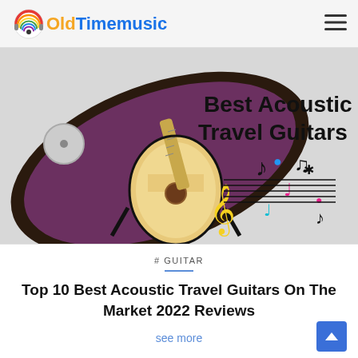OldTimemusic
[Figure (photo): A travel guitar in an open black case with accessories, alongside colorful musical notes clip art and bold text reading 'Best Acoustic Travel Guitars']
# GUITAR
Top 10 Best Acoustic Travel Guitars On The Market 2022 Reviews
see more